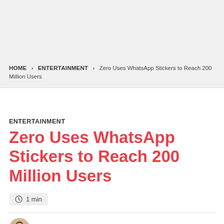HOME > ENTERTAINMENT > Zero Uses WhatsApp Stickers to Reach 200 Million Users
ENTERTAINMENT
Zero Uses WhatsApp Stickers to Reach 200 Million Users
1 min
[Figure (illustration): Partial avatar/person icon at bottom of page]